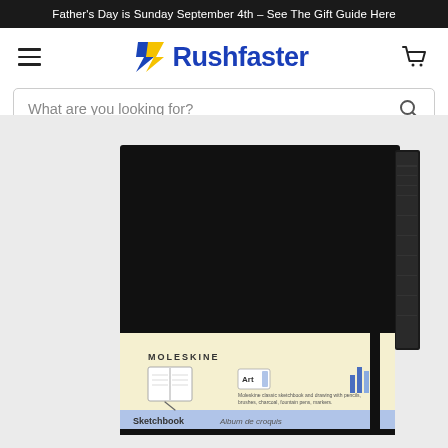Father's Day is Sunday September 4th – See The Gift Guide Here
[Figure (logo): Rushfaster logo with blue chevron/arrow icon and blue bold text 'Rushfaster']
What are you looking for?
[Figure (photo): Moleskine Classic Sketchbook hardcover in black, large size, showing front cover with cream/beige band, Moleskine branding, sketchbook label, Art icon, and text 'Sketchbook / Album de croquis'. An elastic closure band is visible on the right side.]